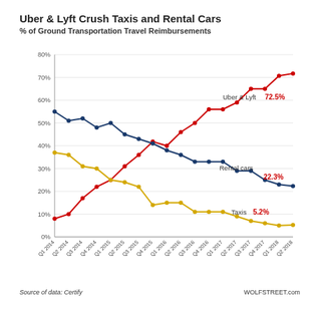Uber & Lyft Crush Taxis and Rental Cars
% of Ground Transportation Travel Reimbursements
[Figure (line-chart): Uber & Lyft Crush Taxis and Rental Cars]
Source of data: Certify
WOLFSTREET.com